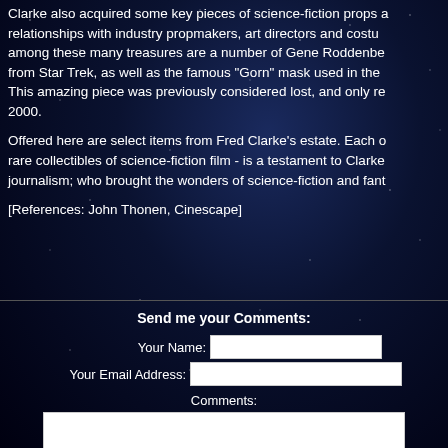Clarke also acquired some key pieces of science-fiction props and relationships with industry propmakers, art directors and costumers. Among these many treasures are a number of Gene Roddenberry items from Star Trek, as well as the famous "Gorn" mask used in the... This amazing piece was previously considered lost, and only rediscovered in 2000.
Offered here are select items from Fred Clarke's estate. Each of these rare collectibles of science-fiction film - is a testament to Clarke's journalism; who brought the wonders of science-fiction and fantasy...
[References: John Thonen, Cinescape]
Send me your Comments:
Your Name: [input field]
Your Email Address: [input field]
Comments: [textarea]